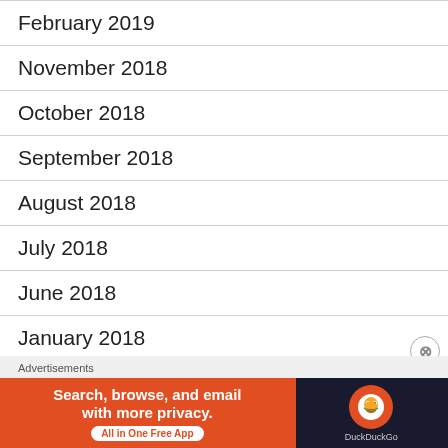February 2019
November 2018
October 2018
September 2018
August 2018
July 2018
June 2018
January 2018
November 2017
July 2017
[Figure (screenshot): DuckDuckGo advertisement banner: 'Search, browse, and email with more privacy. All in One Free App' with DuckDuckGo logo on dark background]